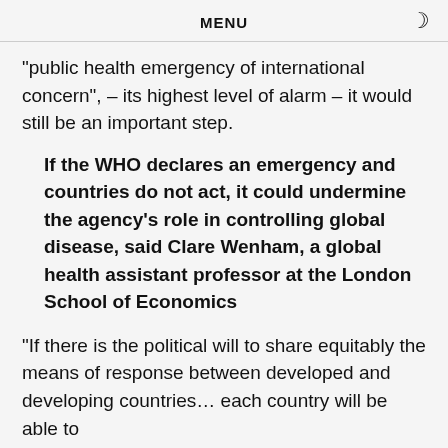MENU
"public health emergency of international concern", – its highest level of alarm – it would still be an important step.
If the WHO declares an emergency and countries do not act, it could undermine the agency's role in controlling global disease, said Clare Wenham, a global health assistant professor at the London School of Economics
"If there is the political will to share equitably the means of response between developed and developing countries… each country will be able to